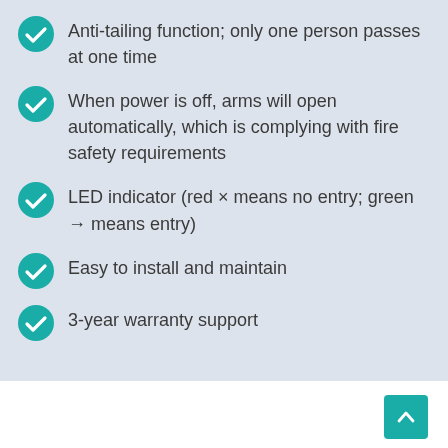Anti-tailing function; only one person passes at one time
When power is off, arms will open automatically, which is complying with fire safety requirements
LED indicator (red × means no entry; green → means entry)
Easy to install and maintain
3-year warranty support
Product Details and Dimensions